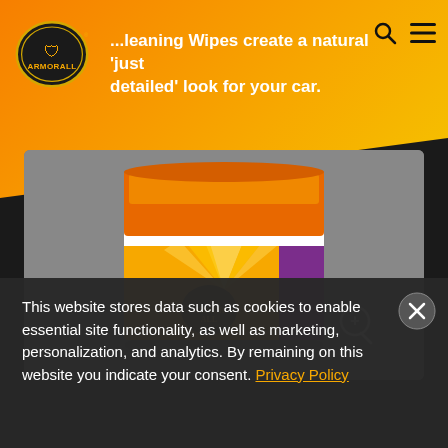[Figure (screenshot): Armor All website screenshot showing orange/yellow gradient header with Armor All logo, search and menu icons, and partial headline text about Cleaning Wipes]
...leaning Wipes create a natural 'just detailed' look for your car.
[Figure (photo): Armor All product container (wipes tub) with orange lid and orange/purple/yellow label showing on gray background, with zoom icon]
This website stores data such as cookies to enable essential site functionality, as well as marketing, personalization, and analytics. By remaining on this website you indicate your consent. Privacy Policy